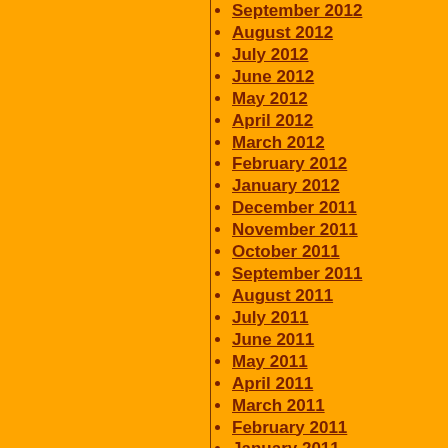September 2012
August 2012
July 2012
June 2012
May 2012
April 2012
March 2012
February 2012
January 2012
December 2011
November 2011
October 2011
September 2011
August 2011
July 2011
June 2011
May 2011
April 2011
March 2011
February 2011
January 2011
December 2010
November 2010
October 2010
September 2010
August 2010
July 2010
June 2010
May 2010
June 2009
May 2009
April 2009